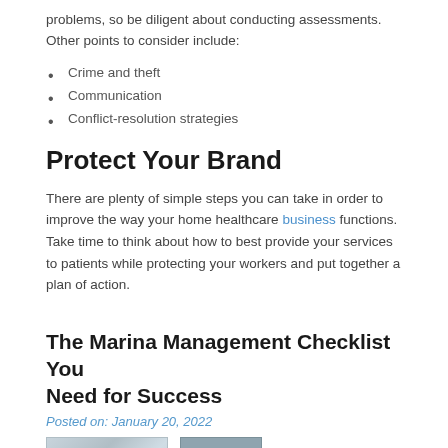problems, so be diligent about conducting assessments. Other points to consider include:
Crime and theft
Communication
Conflict-resolution strategies
Protect Your Brand
There are plenty of simple steps you can take in order to improve the way your home healthcare business functions. Take time to think about how to best provide your services to patients while protecting your workers and put together a plan of action.
The Marina Management Checklist You Need for Success
Posted on: January 20, 2022
[Figure (photo): Partial image of marina or management related photo, two image fragments visible at bottom of page]